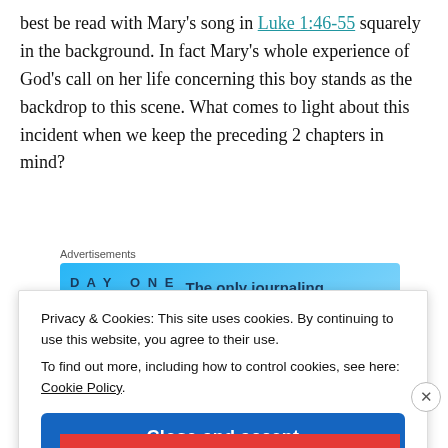best be read with Mary's song in Luke 1:46-55 squarely in the background. In fact Mary's whole experience of God's call on her life concerning this boy stands as the backdrop to this scene. What comes to light about this incident when we keep the preceding 2 chapters in mind?
[Figure (other): Advertisement banner for Day One journaling app with blue background, app icons, and text 'The only journaling app you'll ever need']
Privacy & Cookies: This site uses cookies. By continuing to use this website, you agree to their use.
To find out more, including how to control cookies, see here: Cookie Policy
Close and accept